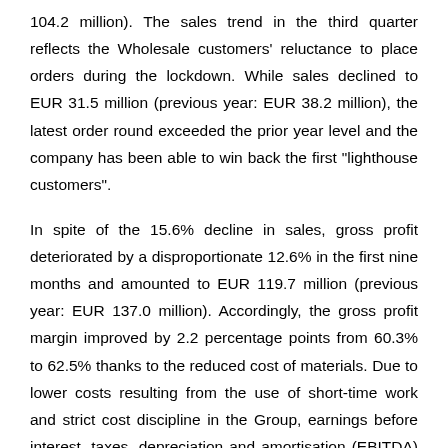104.2 million). The sales trend in the third quarter reflects the Wholesale customers' reluctance to place orders during the lockdown. While sales declined to EUR 31.5 million (previous year: EUR 38.2 million), the latest order round exceeded the prior year level and the company has been able to win back the first "lighthouse customers".
In spite of the 15.6% decline in sales, gross profit deteriorated by a disproportionate 12.6% in the first nine months and amounted to EUR 119.7 million (previous year: EUR 137.0 million). Accordingly, the gross profit margin improved by 2.2 percentage points from 60.3% to 62.5% thanks to the reduced cost of materials. Due to lower costs resulting from the use of short-time work and strict cost discipline in the Group, earnings before interest, taxes, depreciation and amortisation (EBITDA) increased to EUR 19.3 million (previous year: EUR 15.6 million); at 10.1%, the EBITDA margin clearly